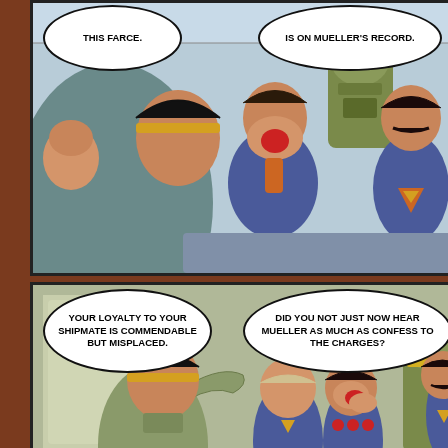[Figure (illustration): Comic book page with two panels. Top panel shows several characters in sci-fi uniforms sitting together; a man in a suit covers his face/nose with a handkerchief, a robot/armored figure in the background, and a mustachioed man in blue uniform. Speech bubbles read 'THIS FARCE.' and 'IS ON MUELLER'S RECORD.' Bottom panel shows a character in olive/tan uniform gesturing/arguing, with other characters including a bald man and a man with a bloody face in blue uniforms and a robot figure in background. Speech bubbles read 'YOUR LOYALTY TO YOUR SHIPMATE IS COMMENDABLE BUT MISPLACED.' and 'DID YOU NOT JUST NOW HEAR MUELLER AS MUCH AS CONFESS TO THE CHARGES?']